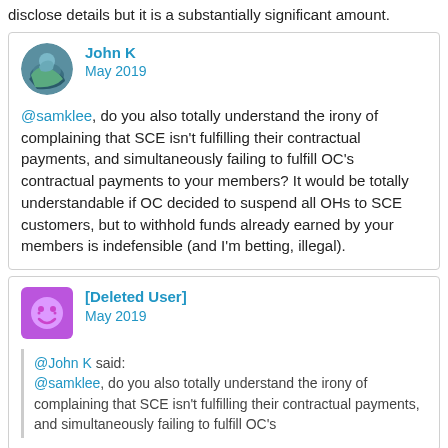disclose details but it is a substantially significant amount.
John K
May 2019
@samklee, do you also totally understand the irony of complaining that SCE isn't fulfilling their contractual payments, and simultaneously failing to fulfill OC's contractual payments to your members? It would be totally understandable if OC decided to suspend all OHs to SCE customers, but to withhold funds already earned by your members is indefensible (and I'm betting, illegal).
[Deleted User]
May 2019
@John K said:
@samklee, do you also totally understand the irony of complaining that SCE isn't fulfilling their contractual payments, and simultaneously failing to fulfill OC's